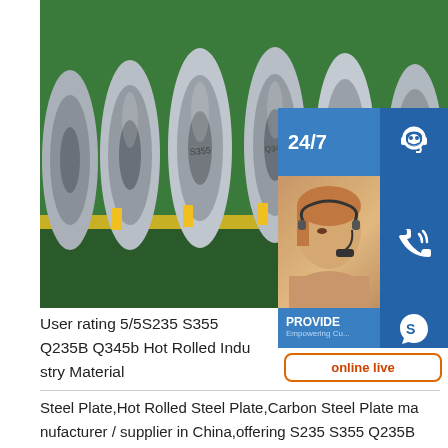[Figure (photo): Photo of steel coils/rolls stored in a factory warehouse with yellow markings on the floor, green walls, rolls stacked on their side.]
[Figure (infographic): Customer service sidebar overlay: 24/7 label, headset icon, phone icon, Skype icon, PROVIDE / Empowering Customers text, online live button, and agent photo.]
User rating 5/5S235 S355 Q235B Q345b Hot Rolled Indu stry Material
Steel Plate,Hot Rolled Steel Plate,Carbon Steel Plate manufacturer / supplier in China,offering S235 S355 Q235B Q345b Hot Rolled Industry Material Carbon Steel Plate,A 36 Grade Hot Dipped Galvanized Embossed Checkered Plate,Factory Direct Sell Ss400 Carbonsp.infoHot Rolled